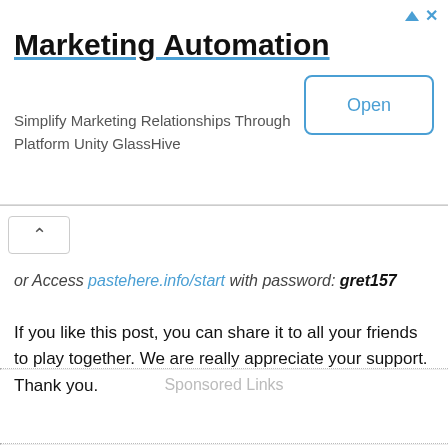[Figure (screenshot): Advertisement banner for Marketing Automation app with title, subtitle, and Open button]
or Access pastehere.info/start with password: gret157
If you like this post, you can share it to all your friends to play together. We are really appreciate your support. Thank you.
Sponsored Links